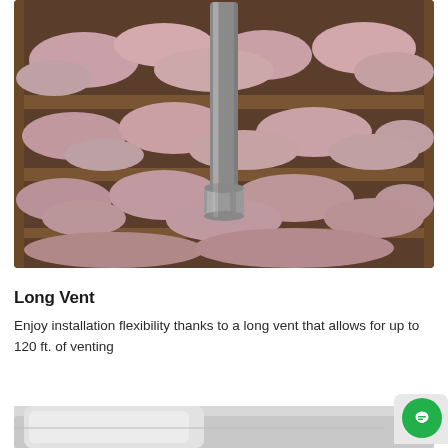[Figure (photo): Photo of pink blown-in insulation in an attic with wooden rafters, and a silver metal vent pipe rising through the insulation in the center of the image.]
Long Vent
Enjoy installation flexibility thanks to a long vent that allows for up to 120 ft. of venting
[Figure (photo): Partial bottom view of a white appliance or unit, partially visible at the bottom of the page.]